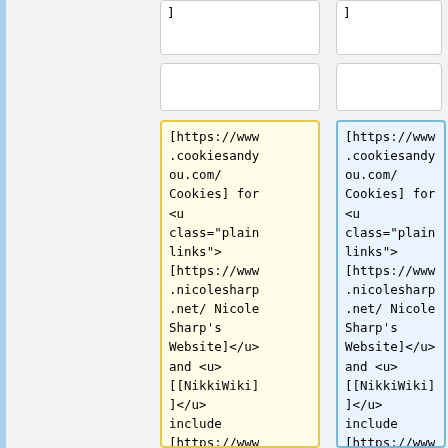]
]
[https://www.cookiesandyou.com/Cookies] for <u class="plainlinks">[https://www.nicolesharp.net/ Nicole Sharp's Website]</u> and <u>[[NikkiWiki]]</u> include [https://www.matomo.org/
[https://www.cookiesandyou.com/Cookies] for <u class="plainlinks">[https://www.nicolesharp.net/ Nicole Sharp's Website]</u> and <u>[[NikkiWiki]]</u> include [https://www.matomo.org/